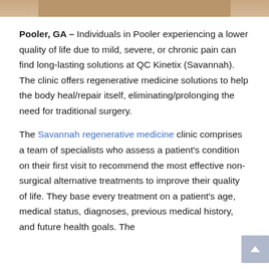[Figure (photo): Partial photo strip at top of page showing a person, cropped]
Pooler, GA – Individuals in Pooler experiencing a lower quality of life due to mild, severe, or chronic pain can find long-lasting solutions at QC Kinetix (Savannah). The clinic offers regenerative medicine solutions to help the body heal/repair itself, eliminating/prolonging the need for traditional surgery.
The Savannah regenerative medicine clinic comprises a team of specialists who assess a patient's condition on their first visit to recommend the most effective non-surgical alternative treatments to improve their quality of life. They base every treatment on a patient's age, medical status, diagnoses, previous medical history, and future health goals. The